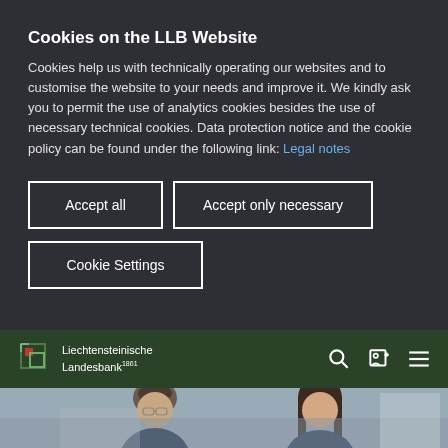Cookies on the LLB Website
Cookies help us with technically operating our websites and to customise the website to your needs and improve it. We kindly ask you to permit the use of analytics cookies besides the use of necessary technical cookies. Data protection notice and the cookie policy can be found under the following link: Legal notes
Accept all
Accept only necessary
Cookie Settings
[Figure (logo): Liechtensteinische Landesbank 1861 logo with green and red square icon]
[Figure (photo): Two women in an office setting, one with curly hair and glasses, another with long straight hair, collaborating at a desk]